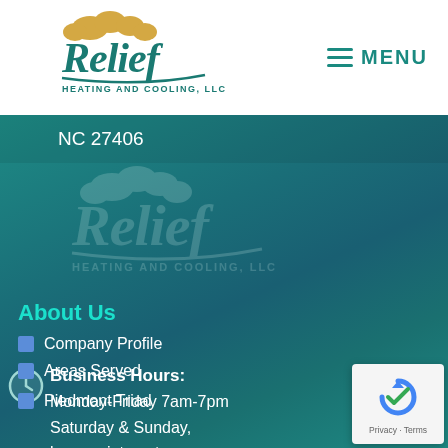Relief Heating and Cooling, LLC — MENU
NC 27406
[Figure (logo): Relief Heating and Cooling LLC watermark logo in teal background]
Business Hours: Monday-Friday 7am-7pm Saturday & Sunday, by appointment
About Us
Company Profile
Areas Served
Piedmont Triad